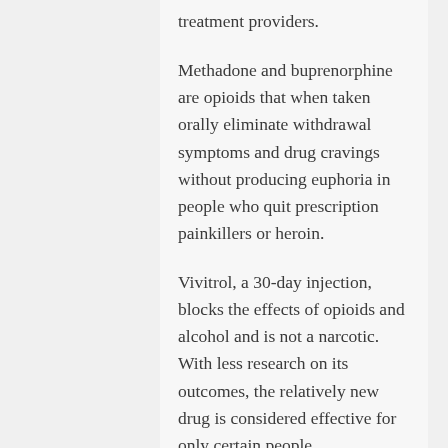treatment providers.
Methadone and buprenorphine are opioids that when taken orally eliminate withdrawal symptoms and drug cravings without producing euphoria in people who quit prescription painkillers or heroin.
Vivitrol, a 30-day injection, blocks the effects of opioids and alcohol and is not a narcotic. With less research on its outcomes, the relatively new drug is considered effective for only certain people.
The American Society of Addiction Medicine advises that all three medications be considered for any patients seeking treatment for an opioid addiction to determine which medicine will work best.